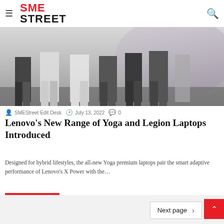SME STREET
[Figure (photo): Group of people standing together at an event, lower body visible, blurred background with purple lighting]
SMEStreet Edit Desk   July 13, 2022   0
Lenovo’s New Range of Yoga and Legion Laptops Introduced
Designed for hybrid lifestyles, the all-new Yoga premium laptops pair the smart adaptive performance of Lenovo’s X Power with the…
Read More »
Next page ›